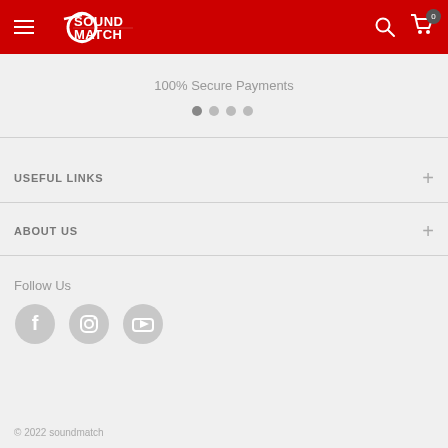SoundMatch - navigation header with logo, search, and cart
100% Secure Payments
[Figure (infographic): Four pagination dots, first dot active (darker)]
USEFUL LINKS
ABOUT US
Follow Us
[Figure (infographic): Social media icons: Facebook, Instagram, YouTube]
© 2022 soundmatch